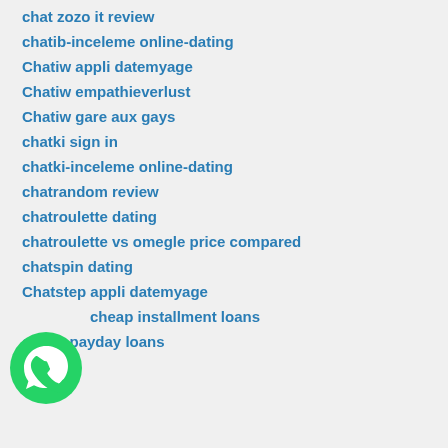chat zozo it review
chatib-inceleme online-dating
Chatiw appli datemyage
Chatiw empathieverlust
Chatiw gare aux gays
chatki sign in
chatki-inceleme online-dating
chatrandom review
chatroulette dating
chatroulette vs omegle price compared
chatspin dating
Chatstep appli datemyage
cheap installment loans
cheap payday loans
[Figure (logo): WhatsApp green phone logo icon]